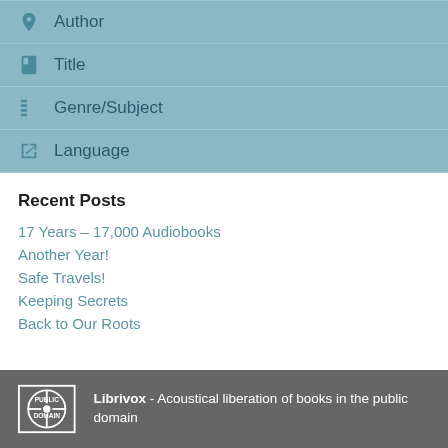Author
Title
Genre/Subject
Language
Recent Posts
17 Years – 17,000 Audiobooks
Another Year!
Safe Travels!
Keeping Secrets
Back to Our Roots
Librivox - Acoustical liberation of books in the public domain